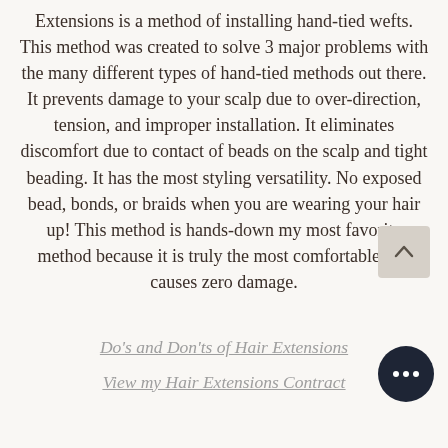Extensions is a method of installing hand-tied wefts. This method was created to solve 3 major problems with the many different types of hand-tied methods out there. It prevents damage to your scalp due to over-direction, tension, and improper installation. It eliminates discomfort due to contact of beads on the scalp and tight beading. It has the most styling versatility. No exposed bead, bonds, or braids when you are wearing your hair up! This method is hands-down my most favorite method because it is truly the most comfortable and causes zero damage.
Do's and Don'ts of Hair Extensions
View my Hair Extensions Contract